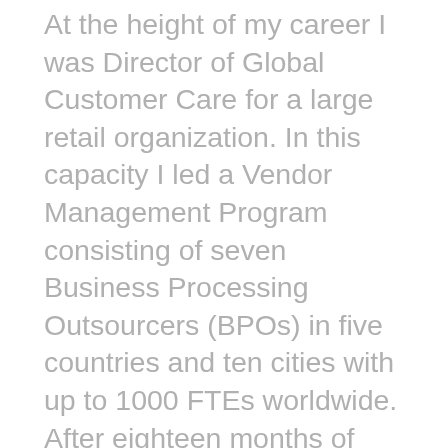At the height of my career I was Director of Global Customer Care for a large retail organization. In this capacity I led a Vendor Management Program consisting of seven Business Processing Outsourcers (BPOs) in five countries and ten cities with up to 1000 FTEs worldwide. After eighteen months of multiple operations, extended hospital stays and rehabilitation, I was staging the comeback of a lifetime. I was challenged with recovering while building a Training/Coaching/Speaking business and releasing two books. As a new entrepreneur, I have discovered three keys to engineering a comeback: